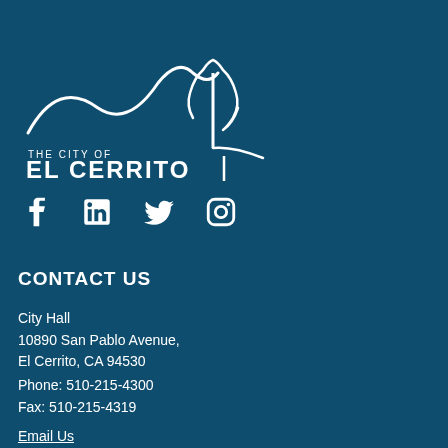[Figure (logo): The City of El Cerrito logo with white line art of hills and a tree above the text 'THE CITY OF EL CERRITO']
[Figure (infographic): Social media icons: Facebook, LinkedIn, Twitter, Instagram in white]
CONTACT US
City Hall
10890 San Pablo Avenue,
El Cerrito, CA 94530
Phone: 510-215-4300
Fax: 510-215-4319
Email Us